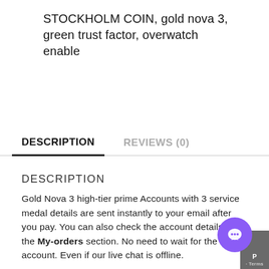STOCKHOLM COIN, gold nova 3, green trust factor, overwatch enable
DESCRIPTION
REVIEWS (0)
DESCRIPTION
Gold Nova 3 high-tier prime Accounts with 3 service medal details are sent instantly to your email after you pay. You can also check the account details in the My-orders section. No need to wait for the account. Even if our live chat is offline.